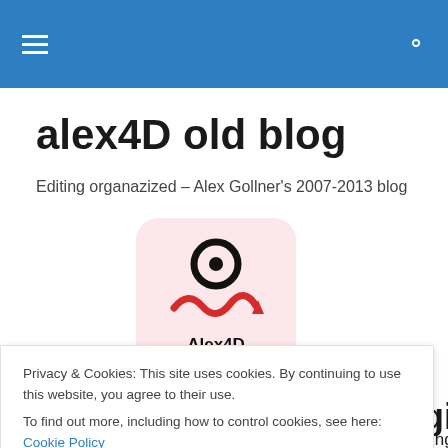alex4D old blog — navigation header with hamburger menu and search icon
alex4D old blog
Editing organazized – Alex Gollner's 2007-2013 blog
[Figure (logo): Alex4D logo: black circle with ring on top, red squiggly arrow below, text 'Alex4D' underneath, on a light pink rounded rectangle background]
Final Cut Pro: Free plugins to
Privacy & Cookies: This site uses cookies. By continuing to use this website, you agree to their use.
To find out more, including how to control cookies, see here: Cookie Policy
Close and accept
very many years. It usually crops up when a client brings